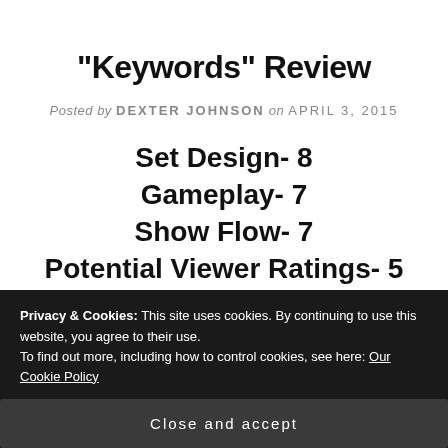"Keywords" Review
Posted by DEXTER JOHNSON on APRIL 3, 2015
Set Design- 8
Gameplay- 7
Show Flow- 7
Potential Viewer Ratings- 5
Play-Along Factor- 10
Privacy & Cookies: This site uses cookies. By continuing to use this website, you agree to their use.
To find out more, including how to control cookies, see here: Our Cookie Policy
Close and accept